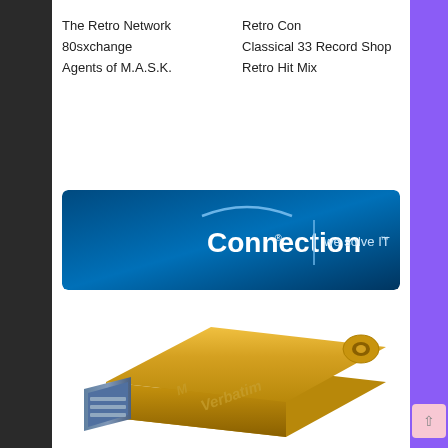The Retro Network
80sxchange
Agents of M.A.S.K.
Retro Con
Classical 33 Record Shop
Retro Hit Mix
[Figure (logo): Connection logo banner — dark blue gradient background with 'Connection' in white text with an arc above, and 'we solve IT' tagline to the right separated by a vertical line]
[Figure (photo): Gold/metallic Verbatim USB flash drive on white background, shown at an angle with USB-A connector visible on the left and keyring hole on the upper right. 'Verbatim' logo embossed on the body.]